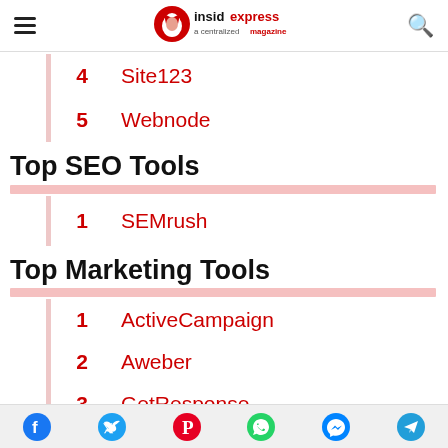insidexpress — a centralized magazine
4  Site123
5  Webnode
Top SEO Tools
1  SEMrush
Top Marketing Tools
1  ActiveCampaign
2  Aweber
3  GetResponse
Social share bar: Facebook, Twitter, Pinterest, WhatsApp, Messenger, Telegram